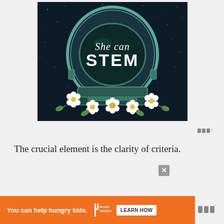[Figure (illustration): An astronaut helmet on a dark starry background with the text 'She can STEM' displayed on the visor, decorated with white flowers around the base of the helmet.]
The crucial element is the clarity of criteria.
[Figure (logo): WW (Weight Watchers) logo with degree symbol — three dark rectangular bars followed by a degree sign]
You can help hungry kids.
NO KID HUNGRY
LEARN HOW